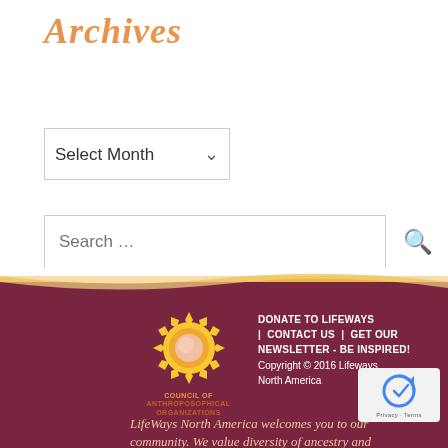Archives
[Figure (screenshot): Select Month dropdown UI element]
[Figure (screenshot): Search input field with search icon]
[Figure (logo): Council of Anthroposophical Organizations sun logo]
DONATE TO LIFEWAYS | CONTACT US | GET OUR NEWSLETTER - BE INSPIRED! Copyright © 2016 Lifeways North America
[Figure (screenshot): reCAPTCHA widget with Privacy and Terms links]
LifeWays North America welcomes you to our community. We value diversity of ancestry and